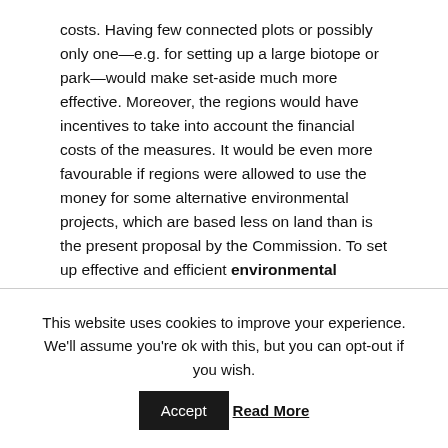costs. Having few connected plots or possibly only one—e.g. for setting up a large biotope or park—would make set-aside much more effective. Moreover, the regions would have incentives to take into account the financial costs of the measures. It would be even more favourable if regions were allowed to use the money for some alternative environmental projects, which are based less on land than is the present proposal by the Commission. To set up effective and efficient environmental schemes, one needs not only land, but also reasonable investment as a joint
This website uses cookies to improve your experience. We'll assume you're ok with this, but you can opt-out if you wish. Accept Read More